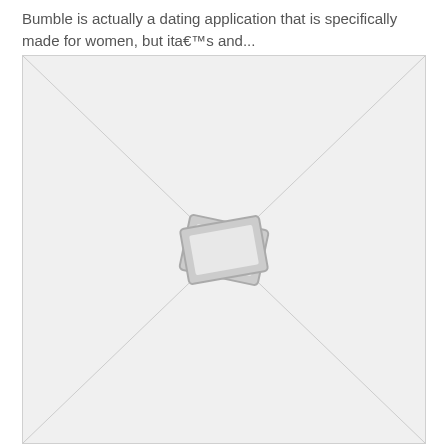Bumble is actually a dating application that is specifically made for women, but ita€™s and...
[Figure (photo): Image placeholder with diagonal cross lines and a stacked photos icon in the center, indicating a missing or unavailable image.]